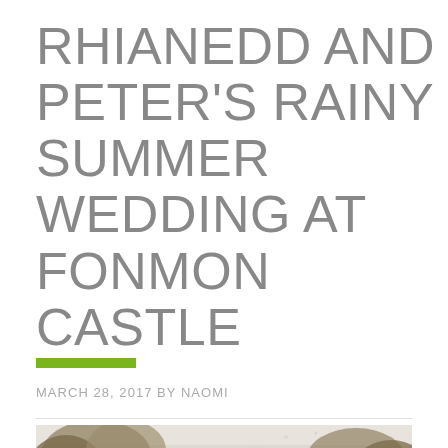RHIANEDD AND PETER'S RAINY SUMMER WEDDING AT FONMON CASTLE
MARCH 28, 2017 BY NAOMI
[Figure (photo): Partial view of Fonmon Castle through trees, muted sepia-toned photograph at the bottom of the page]